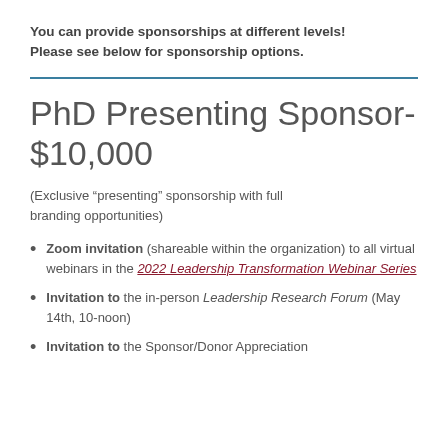You can provide sponsorships at different levels! Please see below for sponsorship options.
PhD Presenting Sponsor- $10,000
(Exclusive “presenting” sponsorship with full branding opportunities)
Zoom invitation (shareable within the organization) to all virtual webinars in the 2022 Leadership Transformation Webinar Series
Invitation to the in-person Leadership Research Forum (May 14th, 10-noon)
Invitation to the Sponsor/Donor Appreciation